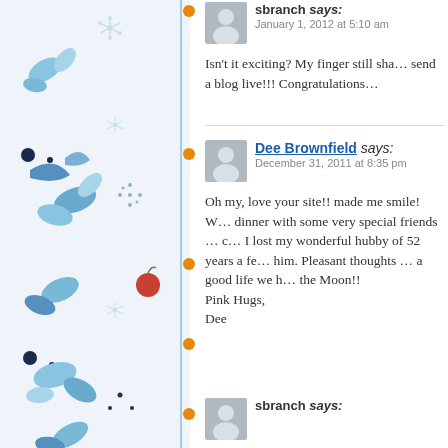[Figure (illustration): Decorative left sidebar with blue watercolor floral and botanical illustrations on light blue background, with a vertical blue line and orange dots]
sbranch says:
January 1, 2012 at 5:10 am

Isn't it exciting? My finger still sha… send a blog live!!! Congratulations…
Dee Brownfield says:
December 31, 2011 at 8:35 pm

Oh my, love your site!! made me smile! W… dinner with some very special friends … c… I lost my wonderful hubby of 52 years a fe… him. Pleasant thoughts … a good life we h… the Moon!!
Pink Hugs,
Dee
sbranch says: